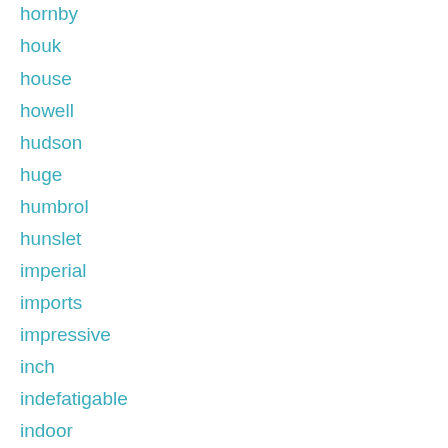hornby
houk
house
howell
hudson
huge
humbrol
hunslet
imperial
imports
impressive
inch
indefatigable
indoor